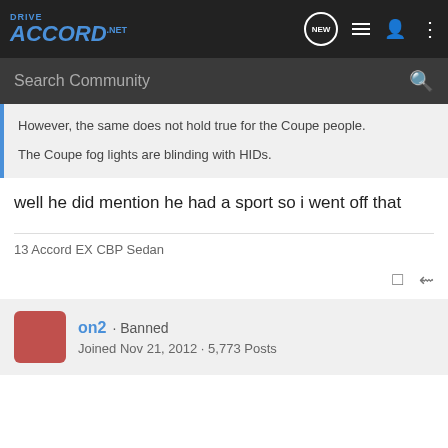DriveAccord.net
However, the same does not hold true for the Coupe people.
The Coupe fog lights are blinding with HIDs.
well he did mention he had a sport so i went off that
13 Accord EX CBP Sedan
on2 · Banned
Joined Nov 21, 2012 · 5,773 Posts